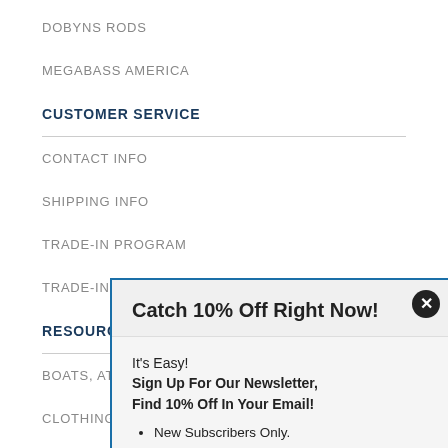DOBYNS RODS
MEGABASS AMERICA
CUSTOMER SERVICE
CONTACT INFO
SHIPPING INFO
TRADE-IN PROGRAM
TRADE-IN P[truncated]
RESOURCES[truncated]
BOATS, ATV[truncated]
CLOTHING[truncated]
ELECTRONICS[truncated]
Catch 10% Off Right Now!
It's Easy!
Sign Up For Our Newsletter,
Find 10% Off In Your Email!
New Subscribers Only.
One coupon per shipping address.